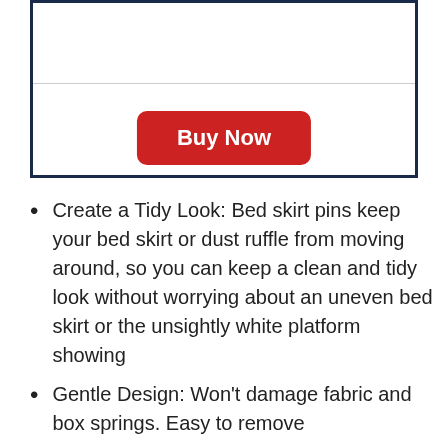[Figure (other): A bordered box with a horizontal divider line and a red 'Buy Now' button centered in the lower portion]
Create a Tidy Look: Bed skirt pins keep your bed skirt or dust ruffle from moving around, so you can keep a clean and tidy look without worrying about an uneven bed skirt or the unsightly white platform showing
Gentle Design: Won't damage fabric and box springs. Easy to remove
Easy to Attach: The spiral design is easily twisted through fabric and into your box spring with no special tools required. The pins are